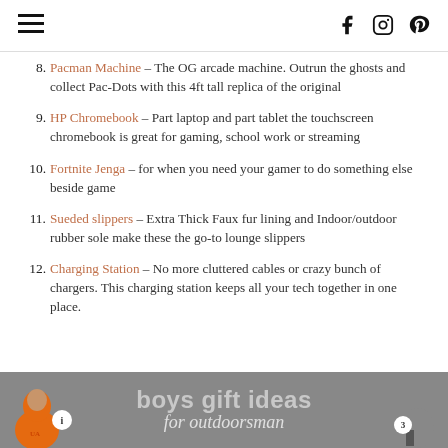Navigation menu and social icons (Facebook, Instagram, Pinterest)
8. Pacman Machine – The OG arcade machine. Outrun the ghosts and collect Pac-Dots with this 4ft tall replica of the original
9. HP Chromebook – Part laptop and part tablet the touchscreen chromebook is great for gaming, school work or streaming
10. Fortnite Jenga – for when you need your gamer to do something else beside game
11. Sueded slippers – Extra Thick Faux fur lining and Indoor/outdoor rubber sole make these the go-to lounge slippers
12. Charging Station – No more cluttered cables or crazy bunch of chargers. This charging station keeps all your tech together in one place.
[Figure (illustration): Boys gift ideas for outdoorsman promotional banner with orange hoodie figure on left and text on gray background]